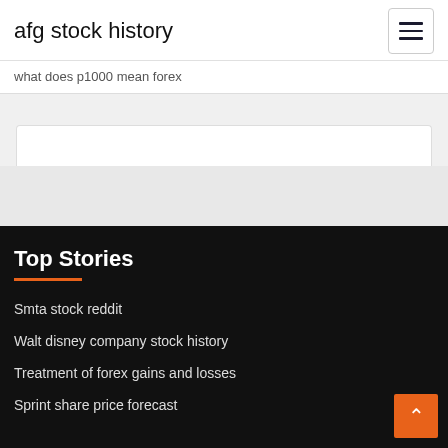afg stock history
what does p1000 mean forex
Top Stories
Smta stock reddit
Walt disney company stock history
Treatment of forex gains and losses
Sprint share price forecast